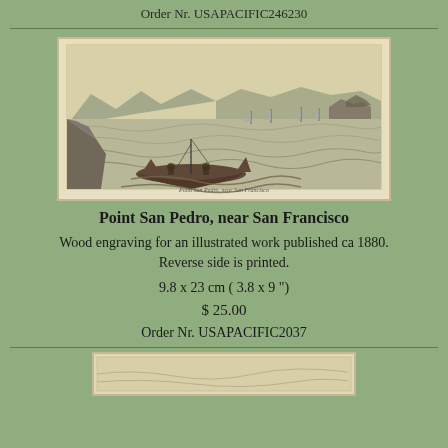Order Nr. USAPACIFIC246230
[Figure (illustration): Wood engraving of Point San Pedro near San Francisco, showing a coastal seascape with mountains in the background, sailing boats on water, and a boat with figures in the foreground amid waves. Caption at bottom reads 'Point San Pedro, near San Francisco'.]
Point San Pedro, near San Francisco
Wood engraving for an illustrated work published ca 1880. Reverse side is printed.
9.8 x 23 cm ( 3.8 x 9 ")
$ 25.00
Order Nr. USAPACIFIC2037
[Figure (illustration): Partial view of another wood engraving at the bottom of the page, partially cropped.]